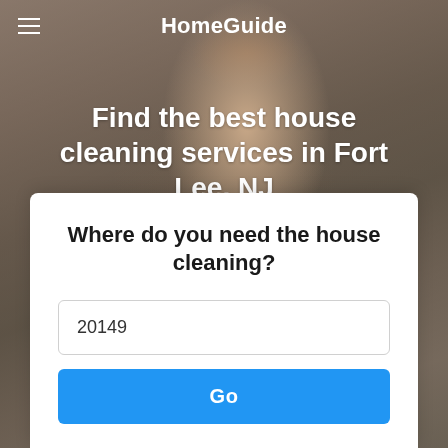[Figure (screenshot): Background photo of a woman cleaning, with a dark overlay tint]
HomeGuide
Find the best house cleaning services in Fort Lee, NJ
Where do you need the house cleaning?
20149
Go